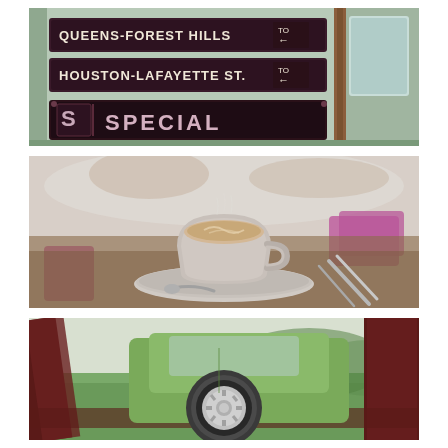[Figure (photo): Close-up of a vintage subway/trolley car destination sign panel painted mint green with dark maroon/burgundy sign boards. Top sign reads 'QUEENS-FOREST HILLS TO ←', middle reads 'HOUSTON-LAFAYETTE ST. TO ←', bottom large sign reads 'S SPECIAL'. Rusty metal frame visible on right side with a window.]
[Figure (photo): Shallow depth-of-field photo of a cappuccino or latte in a grey ceramic cup on a saucer on a wooden cafe table. Pink/magenta napkins and cutlery (spoon, knife, fork) visible. Blurred background shows plates and hands.]
[Figure (photo): Low-angle photo of a green compact car (only wheel and lower body visible) parked on grass, viewed through what appears to be dark red/maroon metal fence or bench slats in the foreground.]